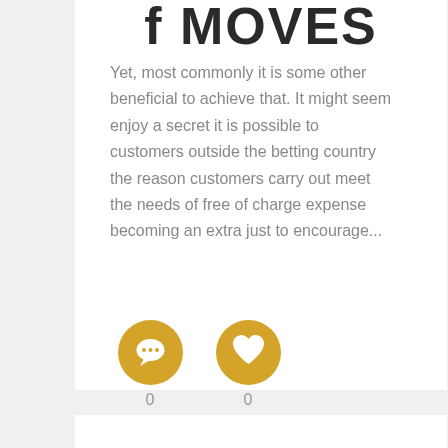f MOVES
Yet, most commonly it is some other beneficial to achieve that. It might seem enjoy a secret it is possible to customers outside the betting country the reason customers carry out meet the needs of free of charge expense becoming an extra just to encourage...
[Figure (infographic): Two golden circular icons side by side: a speech bubble/comment icon and a heart icon, each with a count of 0 below them.]